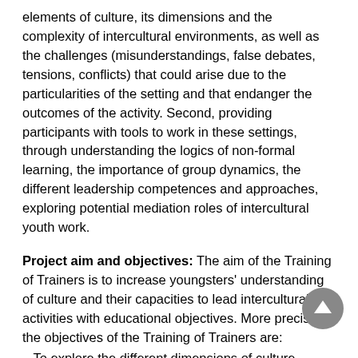elements of culture, its dimensions and the complexity of intercultural environments, as well as the challenges (misunderstandings, false debates, tensions, conflicts) that could arise due to the particularities of the setting and that endanger the outcomes of the activity. Second, providing participants with tools to work in these settings, through understanding the logics of non-formal learning, the importance of group dynamics, the different leadership competences and approaches, exploring potential mediation roles of intercultural youth work.
Project aim and objectives: The aim of the Training of Trainers is to increase youngsters' understanding of culture and their capacities to lead intercultural activities with educational objectives. More precisely, the objectives of the Training of Trainers are:
– To explore the different dimensions of culture